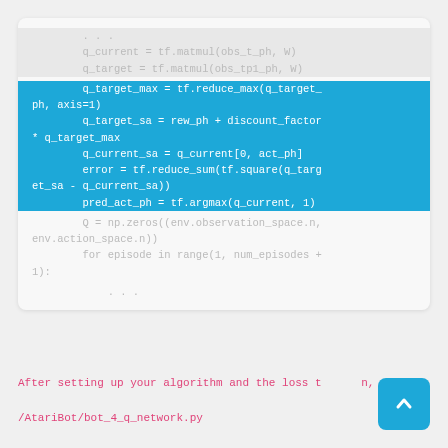[Figure (screenshot): Code block showing Python/TensorFlow code snippet with highlighted lines. Lines include: '...', 'q_current = tf.matmul(obs_t_ph, W)', 'q_target = tf.matmul(obs_tp1_ph, W)', then highlighted: 'q_target_max = tf.reduce_max(q_target_ph, axis=1)', 'q_target_sa = rew_ph + discount_factor * q_target_max', 'q_current_sa = q_current[0, act_ph]', 'error = tf.reduce_sum(tf.square(q_target_sa - q_current_sa))', 'pred_act_ph = tf.argmax(q_current, 1)', then normal: 'Q = np.zeros((env.observation_space.n, env.action_space.n))', 'for episode in range(1, num_episodes + 1):', '...']
After setting up your algorithm and the loss t n,
/AtariBot/bot_4_q_network.py